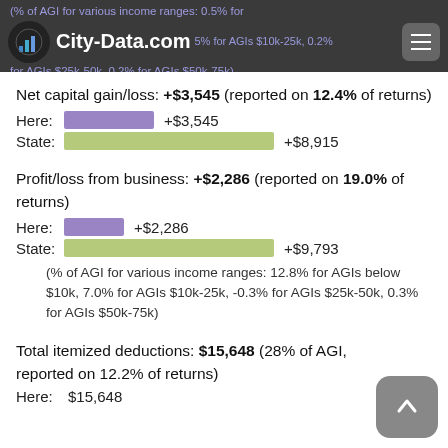City-Data.com (% of AGI for various income ranges: 0.5% for ... 5% for AGIs $10k-25k, 0.2% for AGIs $25k-50k, 0.2% for AGIs $50k-75k)
Net capital gain/loss: +$3,545 (reported on 12.4% of returns)
Here: +$3,545
State: +$8,915
Profit/loss from business: +$2,286 (reported on 19.0% of returns)
Here: +$2,286
State: +$9,793
(% of AGI for various income ranges: 12.8% for AGIs below $10k, 7.0% for AGIs $10k-25k, -0.3% for AGIs $25k-50k, 0.3% for AGIs $50k-75k)
Total itemized deductions: $15,648 (28% of AGI, reported on 12.2% of returns)
Here: $15,648